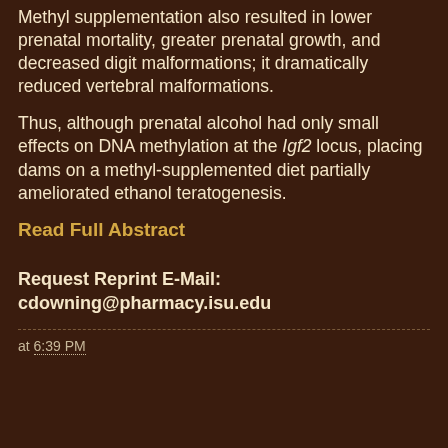Methyl supplementation also resulted in lower prenatal mortality, greater prenatal growth, and decreased digit malformations; it dramatically reduced vertebral malformations.
Thus, although prenatal alcohol had only small effects on DNA methylation at the Igf2 locus, placing dams on a methyl-supplemented diet partially ameliorated ethanol teratogenesis.
Read Full Abstract
Request Reprint E-Mail: cdowning@pharmacy.isu.edu
at 6:39 PM